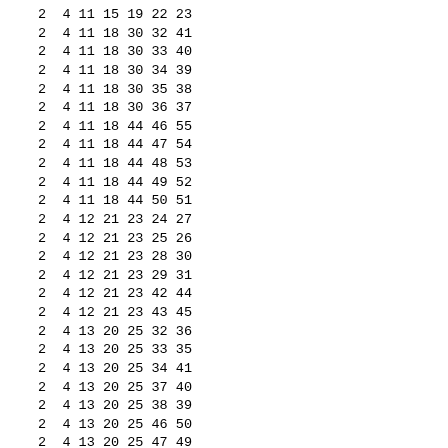2  4 11 15 19 22 23
2  4 11 18 30 32 41
2  4 11 18 30 33 40
2  4 11 18 30 34 39
2  4 11 18 30 35 38
2  4 11 18 30 36 37
2  4 11 18 44 46 55
2  4 11 18 44 47 54
2  4 11 18 44 48 53
2  4 11 18 44 49 52
2  4 11 18 44 50 51
2  4 12 21 23 24 27
2  4 12 21 23 25 26
2  4 12 21 23 28 30
2  4 12 21 23 29 31
2  4 12 21 23 42 44
2  4 12 21 23 43 45
2  4 13 20 25 32 36
2  4 13 20 25 33 35
2  4 13 20 25 34 41
2  4 13 20 25 37 40
2  4 13 20 25 38 39
2  4 13 20 25 46 50
2  4 13 20 25 47 49
2  4 13 20 25 48 55
2  4 13 20 25 51 54
2  4 13 20 25 52 53
2  4 14 19 29 32 40
2  4 14 19 29 33 39
2  4 14 19 29 34 38